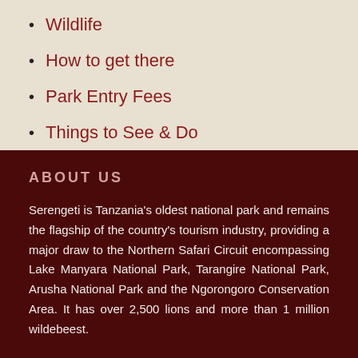Wildlife
How to get there
Park Entry Fees
Things to See & Do
ABOUT US
Serengeti is Tanzania's oldest national park and remains the flagship of the country's tourism industry, providing a major draw to the Northern Safari Circuit encompassing Lake Manyara National Park, Tarangire National Park, Arusha National Park and the Ngorongoro Conservation Area. It has over 2,500 lions and more than 1 million wildebeest.